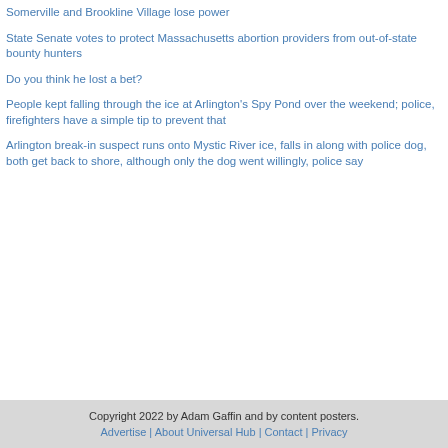Somerville and Brookline Village lose power
State Senate votes to protect Massachusetts abortion providers from out-of-state bounty hunters
Do you think he lost a bet?
People kept falling through the ice at Arlington's Spy Pond over the weekend; police, firefighters have a simple tip to prevent that
Arlington break-in suspect runs onto Mystic River ice, falls in along with police dog, both get back to shore, although only the dog went willingly, police say
Copyright 2022 by Adam Gaffin and by content posters. Advertise | About Universal Hub | Contact | Privacy